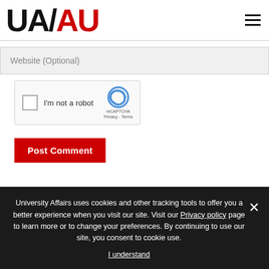UA/AU logo and navigation menu
Website (Optional)
[Figure (other): reCAPTCHA widget with checkbox labeled I'm not a robot, reCAPTCHA logo, Privacy and Terms links]
Post Comment
University Affairs uses cookies and other tracking tools to offer you a better experience when you visit our site. Visit our Privacy policy page to learn more or to change your preferences. By continuing to use our site, you consent to cookie use.
I understand